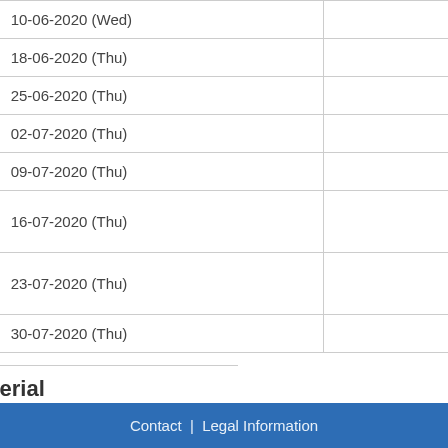| # | Date |
| --- | --- |
| 04 | 10-06-2020 (Wed) |
| 05 | 18-06-2020 (Thu) |
| 06 | 25-06-2020 (Thu) |
| 07 | 02-07-2020 (Thu) |
| 08 | 09-07-2020 (Thu) |
| 09 | 16-07-2020 (Thu) |
| 10 | 23-07-2020 (Thu) |
| 11 | 30-07-2020 (Thu) |
Additional Material
Notes on one dimensional G
Notes on multi dimensional
Python cheat sheet (PDF)
Matrix cookbook (PDF)
Contact | Legal Information